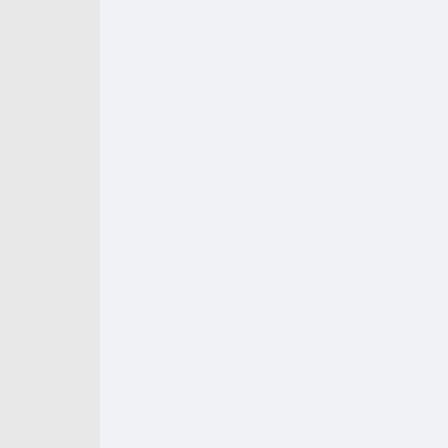ld be at a regular price.
Neo Plan:
10 Plesk Accounts
20GB SSD Space
Unlimited Bandwidth
Free SSL Certificate
Plesk Onyx 17.x
Unlimited SQL DB's
Unlimited Email Accounts
Discounted Price: $4.20/mo -